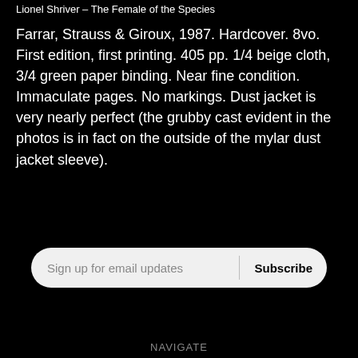Lionel Shriver – The Female of the Species
Farrar, Strauss & Giroux, 1987. Hardcover. 8vo. First edition, first printing. 405 pp. 1/4 beige cloth, 3/4 green paper binding. Near fine condition. Immaculate pages. No markings. Dust jacket is very nearly perfect (the grubby cast evident in the photos is in fact on the outside of the mylar dust jacket sleeve).
Sign up for email updates
Subscribe
NAVIGATE